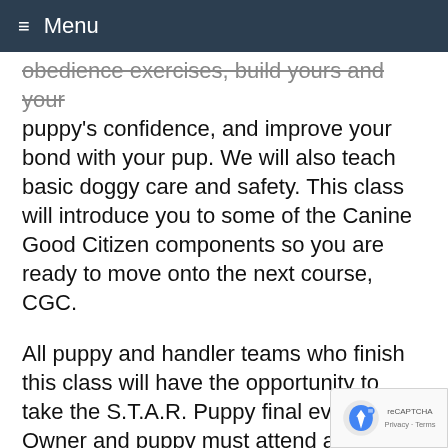≡ Menu
obedience exercises, build yours and your puppy's confidence, and improve your bond with your pup. We will also teach basic doggy care and safety. This class will introduce you to some of the Canine Good Citizen components so you are ready to move onto the next course, CGC.
All puppy and handler teams who finish this class will have the opportunity to take the S.T.A.R. Puppy final evaluation. Owner and puppy must attend a minimum of six classes to qualify for the award and successfully complete the twenty items on the evaluation. Upon passing the evaluation, will receive an AKC form that you may se... to AKC for the AKC S.T.A.R. Puppy "Evaluat"